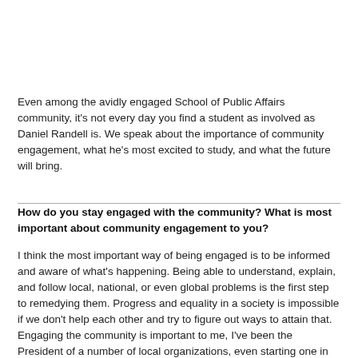Even among the avidly engaged School of Public Affairs community, it's not every day you find a student as involved as Daniel Randell is. We speak about the importance of community engagement, what he's most excited to study, and what the future will bring.
How do you stay engaged with the community? What is most important about community engagement to you?
I think the most important way of being engaged is to be informed and aware of what's happening. Being able to understand, explain, and follow local, national, or even global problems is the first step to remedying them. Progress and equality in a society is impossible if we don't help each other and try to figure out ways to attain that. Engaging the community is important to me, I've been the President of a number of local organizations, even starting one in college.